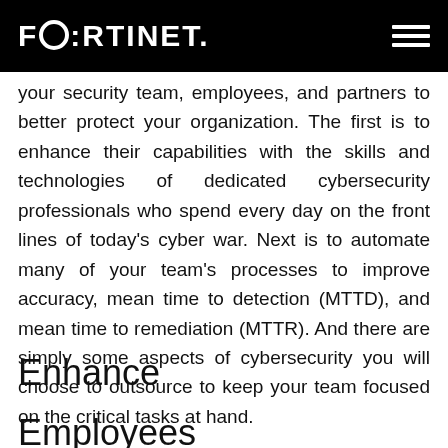FORTINET
your security team, employees, and partners to better protect your organization. The first is to enhance their capabilities with the skills and technologies of dedicated cybersecurity professionals who spend every day on the front lines of today's cyber war. Next is to automate many of your team's processes to improve accuracy, mean time to detection (MTTD), and mean time to remediation (MTTR). And there are simply some aspects of cybersecurity you will choose to outsource to keep your team focused on the critical tasks at hand.
Enhance
Employees